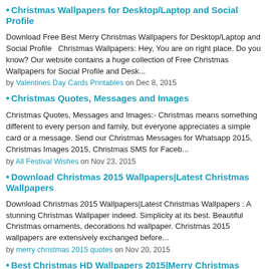Christmas Wallpapers for Desktop/Laptop and Social Profile
Download Free Best Merry Christmas Wallpapers for Desktop/Laptop and Social Profile   Christmas Wallpapers: Hey, You are on right place. Do you know? Our website contains a huge collection of Free Christmas Wallpapers for Social Profile and Desk...
by Valentines Day Cards Printables on Dec 8, 2015
Christmas Quotes, Messages and Images
Christmas Quotes, Messages and Images:- Christmas means something different to every person and family, but everyone appreciates a simple card or a message. Send our Christmas Messages for Whatsapp 2015, Christmas Images 2015, Christmas SMS for Faceb...
by All Festival Wishes on Nov 23, 2015
Download Christmas 2015 Wallpapers|Latest Christmas Wallpapers
Download Christmas 2015 Wallpapers|Latest Christmas Wallpapers : A stunning Christmas Wallpaper indeed. Simplicity at its best. Beautiful Christmas ornaments, decorations hd wallpaper. Christmas 2015 wallpapers are extensively exchanged before...
by merry christmas 2015 quotes on Nov 20, 2015
Best Christmas HD Wallpapers 2015|Merry Christmas
Best Christmas HD Wallpapers 2015|Merry Christmas  : As of writing this article, Christmas is just around the corner. The enthusiasm is building up gradually. While the Christmas 2015 is still a day away from now, people have stated looking...